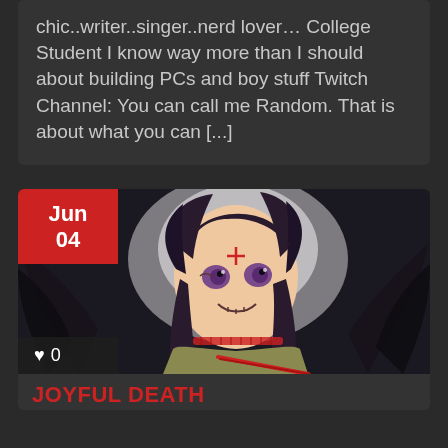chic..writer..singer..nerd lover… College Student I know way more than I should about building PCs and boy stuff Twitch Channel: You can call me Random. That is about what you can [...]
[Figure (illustration): Anime-style illustration of a dark-haired girl with purple eyes, face markings, horns or wings in background, wearing olive shirt with red slash mark across torso. Dark atmospheric background.]
Jun 04
♥ 0
JOYFUL DEATH